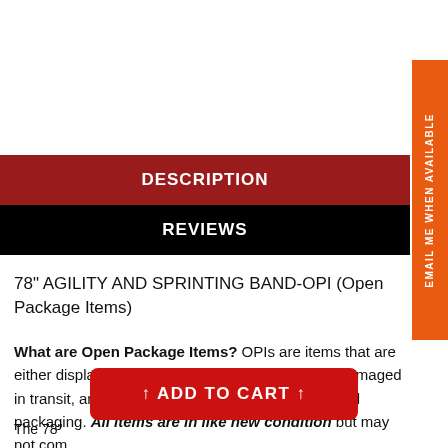DESCRIPTION
REVIEWS
78" AGILITY AND SPRINTING BAND-OPI (Open Package Items)
What are Open Package Items? OPIs are items that are either display model items, items with packaging damaged in transit, and or customer returns outside of original packaging. All items are in like new condition but may not com...
↑ ADD TO CART ↑
The 78"...